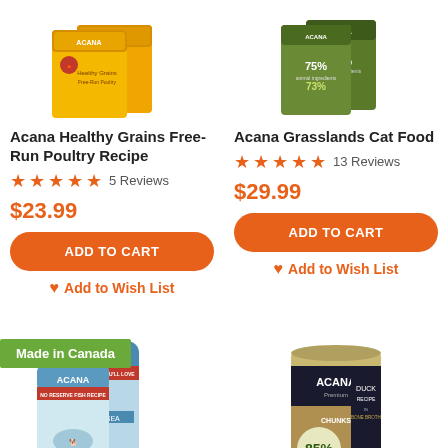[Figure (photo): Acana Healthy Grains Free-Run Poultry Recipe dog food boxes, orange/yellow packaging]
Acana Healthy Grains Free-Run Poultry Recipe
★★★★★ 5 Reviews
$23.99
ADD TO CART
Add to Wish List
[Figure (photo): Acana Grasslands Cat Food boxes, green packaging with 75% and 73% labels]
Acana Grasslands Cat Food
★★★★★ 13 Reviews
$29.99
ADD TO CART
Add to Wish List
Made in Canada
[Figure (photo): Acana dog food bags, coastal/ocean theme with blue and white packaging]
[Figure (photo): Acana Premium Chunks Duck Recipe in Bone Broth canned food, 85% label, NEW badge]